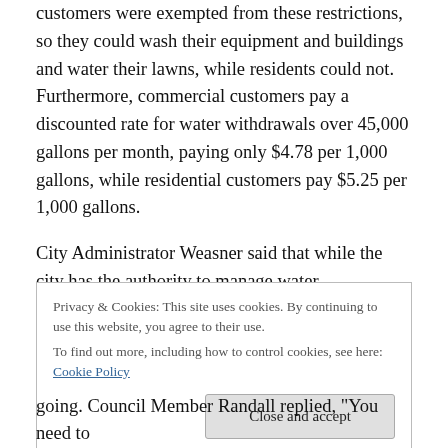customers were exempted from these restrictions, so they could wash their equipment and buildings and water their lawns, while residents could not. Furthermore, commercial customers pay a discounted rate for water withdrawals over 45,000 gallons per month, paying only $4.78 per 1,000 gallons, while residential customers pay $5.25 per 1,000 gallons.
City Administrator Weasner said that while the city has the authority to manage water withdrawals, it has relied on state orders to do so this summer. The decision to install
Privacy & Cookies: This site uses cookies. By continuing to use this website, you agree to their use.
To find out more, including how to control cookies, see here: Cookie Policy
going. Council Member Randall replied, "You need to